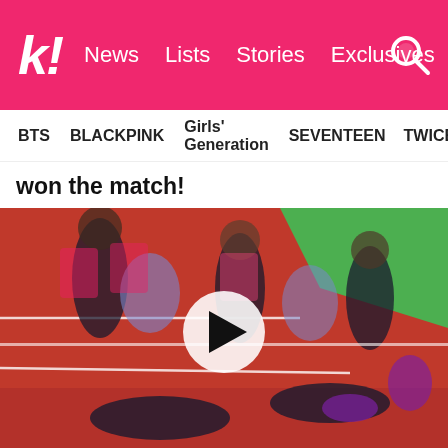k! News Lists Stories Exclusives
BTS  BLACKPINK  Girls' Generation  SEVENTEEN  TWICE
won the match!
[Figure (screenshot): Video thumbnail showing K-pop idols at what appears to be a sports event on a red track/field, with a circular white play button overlay in the center.]